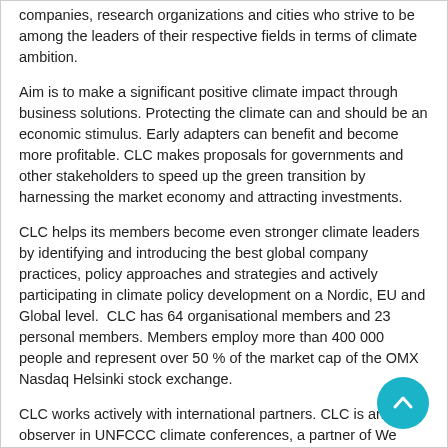companies, research organizations and cities who strive to be among the leaders of their respective fields in terms of climate ambition.
Aim is to make a significant positive climate impact through business solutions. Protecting the climate can and should be an economic stimulus. Early adapters can benefit and become more profitable. CLC makes proposals for governments and other stakeholders to speed up the green transition by harnessing the market economy and attracting investments.
CLC helps its members become even stronger climate leaders by identifying and introducing the best global company practices, policy approaches and strategies and actively participating in climate policy development on a Nordic, EU and Global level.  CLC has 64 organisational members and 23 personal members. Members employ more than 400 000 people and represent over 50 % of the market cap of the OMX Nasdaq Helsinki stock exchange.
CLC works actively with international partners. CLC is an observer in UNFCCC climate conferences, a partner of We Mean Business Coalition, and a member of the Carbon Pricing Leadership Coalition and Climate KIC.